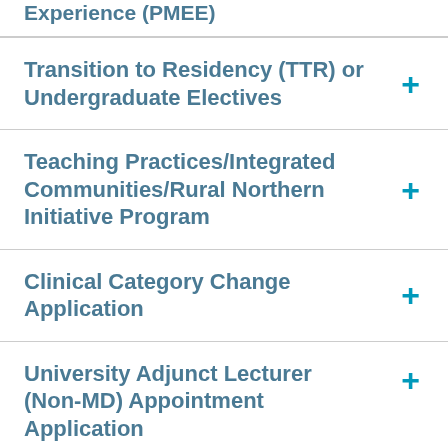Experience (PMEE)
Transition to Residency (TTR) or Undergraduate Electives
Teaching Practices/Integrated Communities/Rural Northern Initiative Program
Clinical Category Change Application
University Adjunct Lecturer (Non-MD) Appointment Application